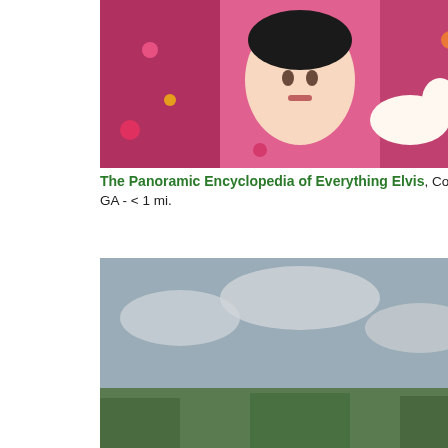[Figure (photo): Colorful painted display with Elvis Presley face portrait and decorative dog figurine, bright pink background with various memorabilia]
The Panoramic Encyclopedia of Everything Elvis, Cornelia, GA - < 1 mi.
[Figure (photo): Outdoor scene with graffiti-painted school buses and colorful spray art murals on a wall, overcast sky, trees in background]
School Bus Graveyard: Spray Art, Alto, GA - 7 mi.
[Figure (photo): Large black and white cow statue or sculpture against a partly cloudy sky]